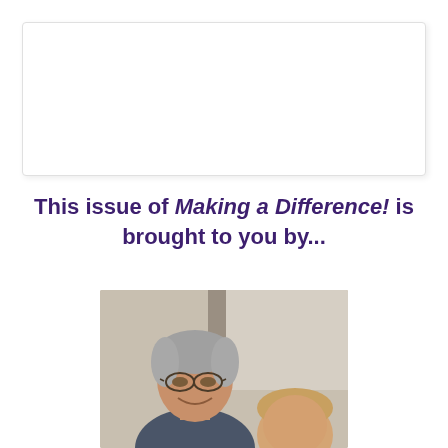[Figure (other): White rectangle box with border and shadow, appearing as a placeholder or header image area]
This issue of Making a Difference! is brought to you by...
[Figure (photo): Photo of an elderly man wearing glasses smiling, with a young child next to him, indoor background]